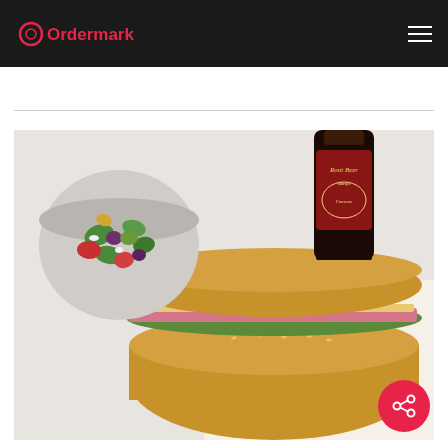Ordermark
[Figure (photo): Food photo showing a sandwich cut in half on deli paper with Bay Cities branding, a Greek salad in a plastic container, and a bottle of Barq's Root Beer on a white surface.]